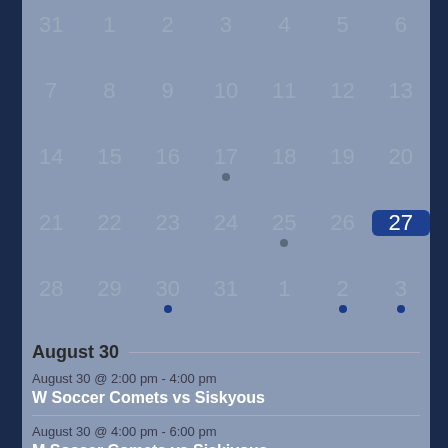[Figure (other): Monthly calendar grid showing dates 31, 1-6 (row 1), 7-13 (row 2), 14-20 (row 3 with dot on 17), 21-27 (row 4 with dot on 25, today highlighted on 27), 28-31, 1-3 (row 5 with dots on 30, 2, 3)]
August 30
August 30 @ 2:00 pm - 4:00 pm
W Soccer Comets vs Siskyous
August 30 @ 4:00 pm - 6:00 pm
M Soccer Comets vs Siskiyous
September 2